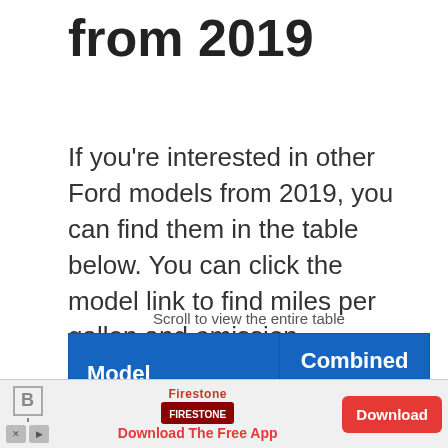from 2019
If you're interested in other Ford models from 2019, you can find them in the table below. You can click the model link to find miles per gallon and emission information for that model.
Scroll to view the entire table
| Model | Combined MPG |
| --- | --- |
| F150 2WD FFV | 18 |
[Figure (other): Firestone advertisement banner: 'Download The Free App' with a red Download button]